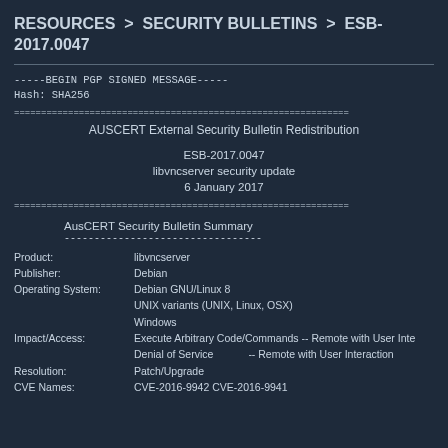RESOURCES > SECURITY BULLETINS > ESB-2017.0047
-----BEGIN PGP SIGNED MESSAGE-----
Hash: SHA256
==============================================================
        AUSCERT External Security Bulletin Redistribution

                        ESB-2017.0047
               libvncserver security update
                       6 January 2017

==============================================================
AusCERT Security Bulletin Summary
        ---------------------------------
Product:            libvncserver
Publisher:           Debian
Operating System:  Debian GNU/Linux 8
                    UNIX variants (UNIX, Linux, OSX)
                    Windows
Impact/Access:    Execute Arbitrary Code/Commands -- Remote with User Inte
                    Denial of Service           -- Remote with User Interaction
Resolution:       Patch/Upgrade
CVE Names:       CVE-2016-9942 CVE-2016-9941